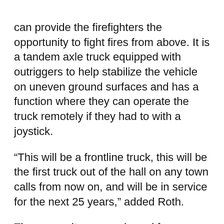can provide the firefighters the opportunity to fight fires from above. It is a tandem axle truck equipped with outriggers to help stabilize the vehicle on uneven ground surfaces and has a function where they can operate the truck remotely if they had to with a joystick.
“This will be a frontline truck, this will be the first truck out of the hall on any town calls from now on, and will be in service for the next 25 years,” added Roth.
The new unit was purchased from Rocky Mountain Phoenix from Red Deer but the deal was made in Indianapolis.
“We made the deal in Indianapolis as we were down there for the FDIC which is an international fire conference and